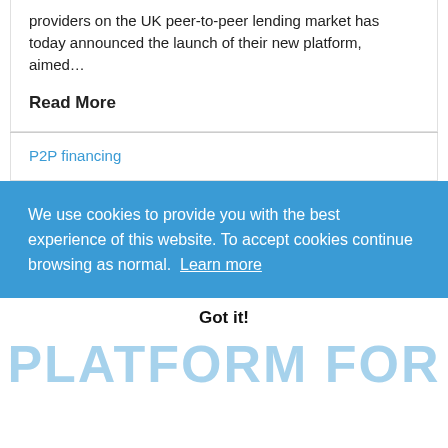providers on the UK peer-to-peer lending market has today announced the launch of their new platform, aimed…
Read More
P2P financing
We use cookies to provide you with the best experience of this website. To accept cookies continue browsing as normal.  Learn more
Got it!
PLATFORM FOR